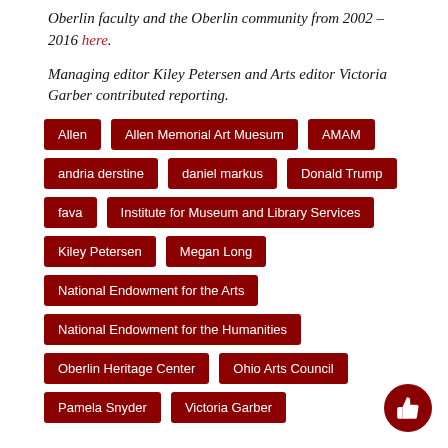Oberlin faculty and the Oberlin community from 2002 – 2016 here.
Managing editor Kiley Petersen and Arts editor Victoria Garber contributed reporting.
Allen
Allen Memorial Art Muesum
AMAM
andria derstine
daniel markus
Donald Trump
fava
Institute for Museum and Library Services
Kiley Petersen
Megan Long
National Endowment for the Arts
National Endowment for the Humanities
Oberlin Heritage Center
Ohio Arts Council
Pamela Snyder
Victoria Garber